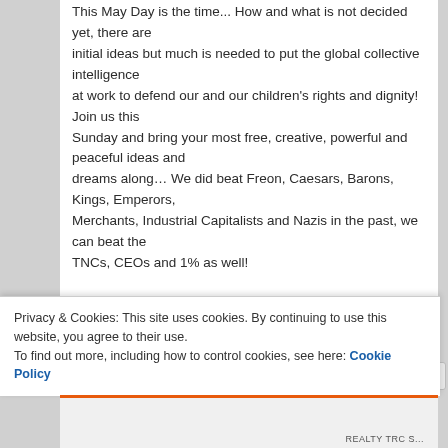This May Day is the time... How and what is not decided yet, there are initial ideas but much is needed to put the global collective intelligence at work to defend our and our children's rights and dignity! Join us this Sunday and bring your most free, creative, powerful and peaceful ideas and dreams along… We did beat Freon, Caesars, Barons, Kings, Emperors, Merchants, Industrial Capitalists and Nazis in the past, we can beat the TNCs, CEOs and 1% as well!
Privacy & Cookies: This site uses cookies. By continuing to use this website, you agree to their use. To find out more, including how to control cookies, see here: Cookie Policy
Close and accept